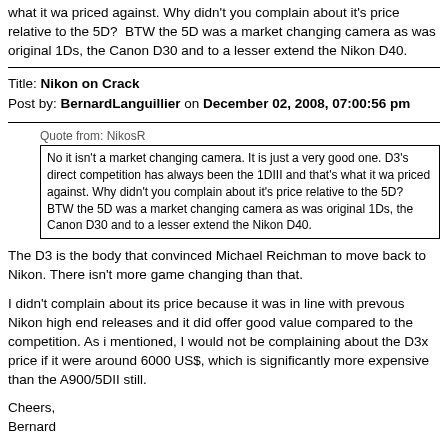what it wa priced against. Why didn't you complain about it's price relative to the 5D?  BTW the 5D was a market changing camera as was original 1Ds, the Canon D30 and to a lesser extend the Nikon D40.
Title: Nikon on Crack
Post by: BernardLanguillier on December 02, 2008, 07:00:56 pm
Quote from: NikosR
No it isn't a market changing camera. It is just a very good one. D3's direct competition has always been the 1DIII and that's what it wa priced against. Why didn't you complain about it's price relative to the 5D?  BTW the 5D was a market changing camera as was original 1Ds, the Canon D30 and to a lesser extend the Nikon D40.
The D3 is the body that convinced Michael Reichman to move back to Nikon. There isn't more game changing than that.
I didn't complain about its price because it was in line with prevous Nikon high end releases and it did offer good value compared to the competition. As i mentioned, I would not be complaining about the D3x price if it were around 6000 US$, which is significantly more expensive than the A900/5DII still.
Cheers,
Bernard
Title: Nikon on Crack
Post by: Tony Beach on December 02, 2008, 07:01:06 pm